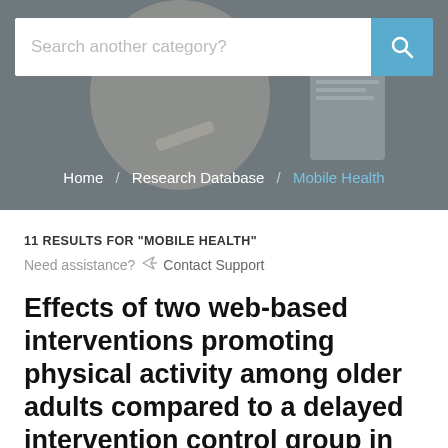[Figure (photo): Hero banner image showing a medical/health consultation scene with people, overlaid with a search bar and breadcrumb navigation showing Home / Research Database / Mobile Health]
11 RESULTS FOR "MOBILE HEALTH"
Need assistance?  Contact Support
Effects of two web-based interventions promoting physical activity among older adults compared to a delayed intervention control group in